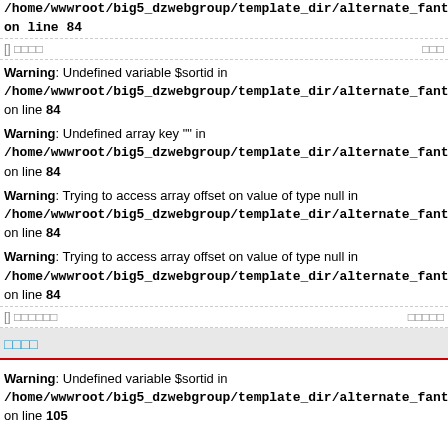/home/wwwroot/big5_dzwebgroup/template_dir/alternate_fanti_qian on line 84
[] 0000	000
Warning: Undefined variable $sortid in /home/wwwroot/big5_dzwebgroup/template_dir/alternate_fanti_qian on line 84
Warning: Undefined array key "" in /home/wwwroot/big5_dzwebgroup/template_dir/alternate_fanti_qian on line 84
Warning: Trying to access array offset on value of type null in /home/wwwroot/big5_dzwebgroup/template_dir/alternate_fanti_qian on line 84
Warning: Trying to access array offset on value of type null in /home/wwwroot/big5_dzwebgroup/template_dir/alternate_fanti_qian on line 84
[] 000000	00000
0000
Warning: Undefined variable $sortid in /home/wwwroot/big5_dzwebgroup/template_dir/alternate_fanti_qian on line 105